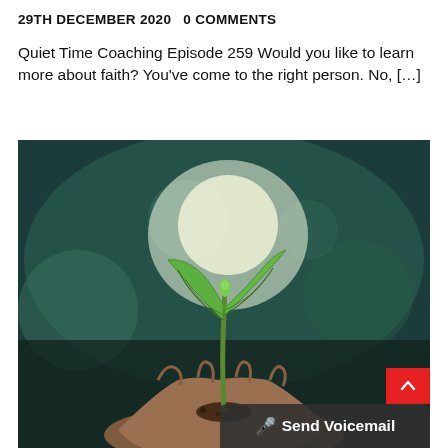29TH DECEMBER 2020   0 COMMENTS
Quiet Time Coaching Episode 259 Would you like to learn more about faith? You've come to the right person. No, […]
[Figure (photo): A hand holding a small green seedling with two large leaves, set against a blurred dark green and teal bokeh background with a bright light behind the plant.]
Send Voicemail